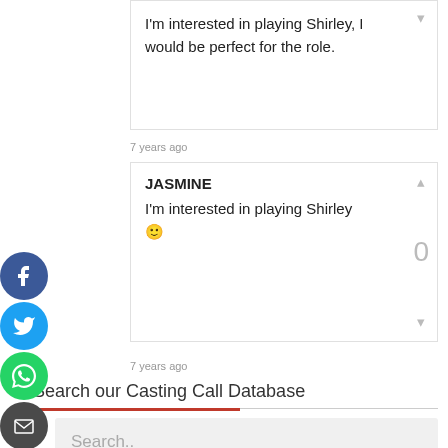I'm interested in playing Shirley, I would be perfect for the role.
7 years ago
JASMINE
I'm interested in playing Shirley 🙂
7 years ago
[Figure (infographic): Social media share icons: Facebook (blue circle), Twitter (blue circle), WhatsApp (green circle), Email (dark circle)]
Search our Casting Call Database
Search..